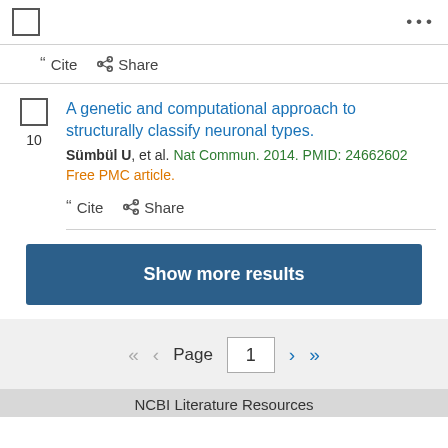Cite  Share
A genetic and computational approach to structurally classify neuronal types.
Sümbül U, et al. Nat Commun. 2014. PMID: 24662602
Free PMC article.
Cite  Share
Show more results
Page 1
NCBI Literature Resources